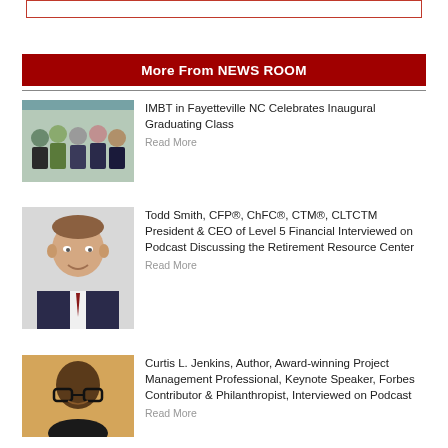[Figure (other): Red bordered empty box at top]
More From NEWS ROOM
[Figure (photo): Group photo of IMBT graduates and staff in Fayetteville NC]
IMBT in Fayetteville NC Celebrates Inaugural Graduating Class
Read More
[Figure (photo): Headshot of Todd Smith, middle-aged man in suit smiling]
Todd Smith, CFP®, ChFC®, CTM®, CLTCTM President & CEO of Level 5 Financial Interviewed on Podcast Discussing the Retirement Resource Center
Read More
[Figure (photo): Headshot of Curtis L. Jenkins, bald man with glasses on orange background]
Curtis L. Jenkins, Author, Award-winning Project Management Professional, Keynote Speaker, Forbes Contributor & Philanthropist, Interviewed on Podcast
Read More